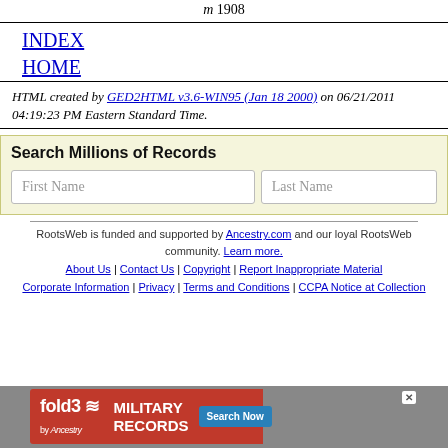m 1908
INDEX
HOME
HTML created by GED2HTML v3.6-WIN95 (Jan 18 2000) on 06/21/2011 04:19:23 PM Eastern Standard Time.
[Figure (other): Search Millions of Records widget with First Name and Last Name input fields]
RootsWeb is funded and supported by Ancestry.com and our loyal RootsWeb community. Learn more.
About Us | Contact Us | Copyright | Report Inappropriate Material Corporate Information | Privacy | Terms and Conditions | CCPA Notice at Collection
[Figure (other): Fold3 Military Records advertisement banner]